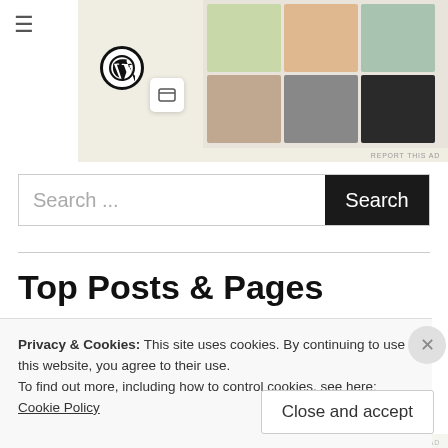[Figure (screenshot): WordPress ad banner showing WordPress logo, a card icon, and food/menu thumbnail images on a cream background with 'REPORT THIS AD' text]
Search ...
Search
Top Posts & Pages
[Figure (photo): Thumbnail of a red pickup truck against a blue sky]
Study Finds Men With Large Trucks Have
Privacy & Cookies: This site uses cookies. By continuing to use this website, you agree to their use.
To find out more, including how to control cookies, see here:
Cookie Policy
Close and accept